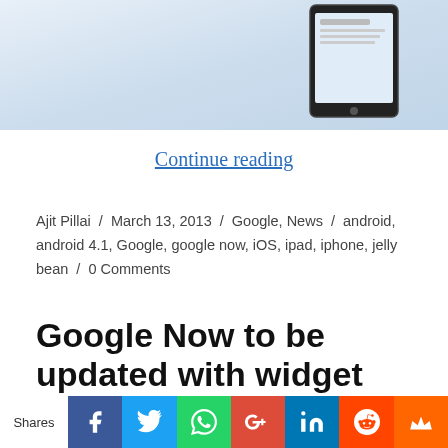[Figure (screenshot): Partial view of a tablet device on a light blue gradient background]
Continue reading
Ajit Pillai / March 13, 2013 / Google, News / android, android 4.1, Google, google now, iOS, ipad, iphone, jelly bean / 0 Comments
Google Now to be updated with widget support pretty soon
Shares